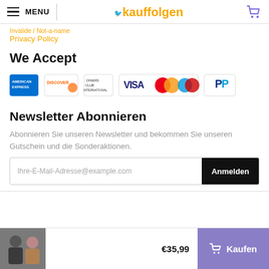Kauffolgen — Menu / Navigation header with cart
Privacy Policy
We Accept
[Figure (other): Payment method logos: American Express, Discover, Diners Club, VISA, Mastercard, Maestro, PayPal]
Newsletter Abonnieren
Abonnieren Sie unseren Newsletter und bekommen Sie unseren Gutschein und die Sonderaktionen.
Ihre-E-Mail-Adresse@example.com  Anmelden
[Figure (photo): Two people wearing casual clothes and sunglasses]
€35,99
Kaufen